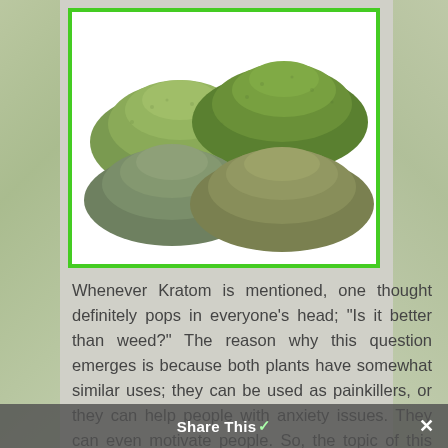[Figure (photo): Four piles of green kratom powder in different shades of green and olive/grey-green, arranged on a white background inside a bright green bordered box.]
Whenever Kratom is mentioned, one thought definitely pops in everyone's head; “Is it better than weed?” The reason why this question emerges is because both plants have somewhat similar uses; they can be used as painkillers, or they can help people with anxiety issues. They can even motivate people. So, the topic of this article will be to compare these two plants, and
Share This✓  ×